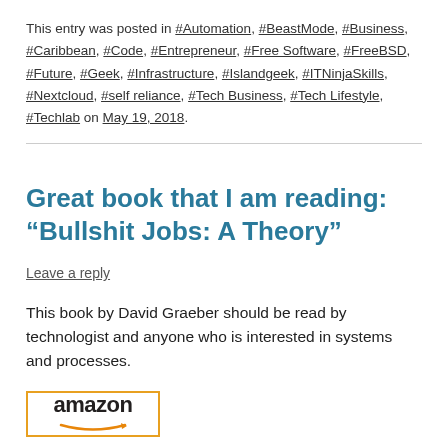This entry was posted in #Automation, #BeastMode, #Business, #Caribbean, #Code, #Entrepreneur, #Free Software, #FreeBSD, #Future, #Geek, #Infrastructure, #Islandgeek, #ITNinjaSkills, #Nextcloud, #self reliance, #Tech Business, #Tech Lifestyle, #Techlab on May 19, 2018.
Great book that I am reading: “Bullshit Jobs: A Theory”
Leave a reply
This book by David Graeber should be read by technologist and anyone who is interested in systems and processes.
[Figure (logo): Amazon logo with orange arrow underneath the wordmark, inside an orange-bordered box]